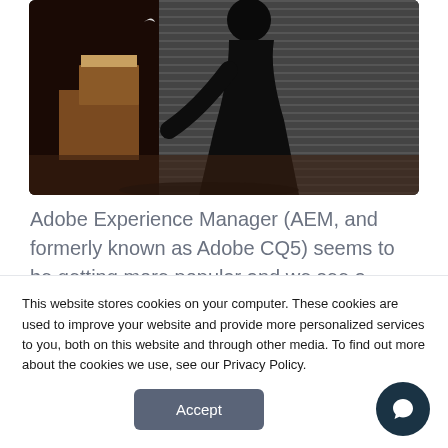[Figure (photo): Dark silhouette photo of a person handling cardboard boxes in front of a metal corrugated shutter, with a bird visible in the top left. Dramatic shadow play with warm and dark tones.]
Adobe Experience Manager (AEM, and formerly known as Adobe CQ5) seems to be getting more popular and we see a major increase in requests for content
This website stores cookies on your computer. These cookies are used to improve your website and provide more personalized services to you, both on this website and through other media. To find out more about the cookies we use, see our Privacy Policy.
Accept